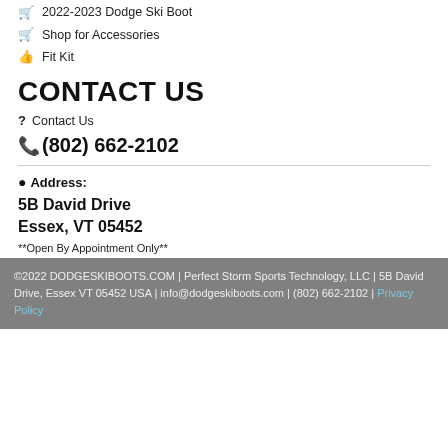🛒 2022-2023 Dodge Ski Boot
🛒 Shop for Accessories
👍 Fit Kit
CONTACT US
? Contact Us
☎(802) 662-2102
📍 Address:
5B David Drive
Essex, VT 05452
**Open By Appointment Only**
©2022 DODGESKIBOOTS.COM | Perfect Storm Sports Technology, LLC | 5B David Drive, Essex VT 05452 USA | info@dodgeskiboots.com | (802) 662-2102 | Privacy Policy